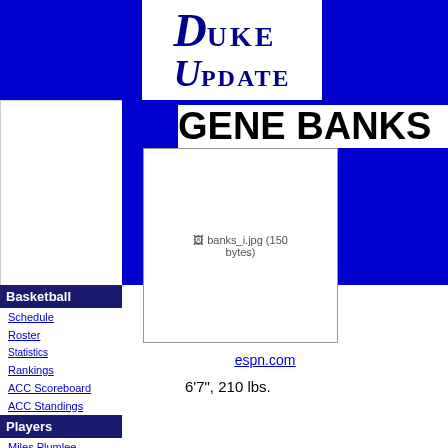[Figure (logo): Duke Update logo with stylized D and U in dark blue serif font on white background]
GENE BANKS
[Figure (photo): Player photo placeholder showing banks_i.jpg (150 bytes)]
Basketball
Schedule
Roster
Statistics
Rankings
ACC Scoreboard
ACC Standings
Players
Miles Plumlee
Seth Curry
Mason Plumlee
Ryan Kelly
Andre Dawkins
espn.com
6'7", 210 lbs.